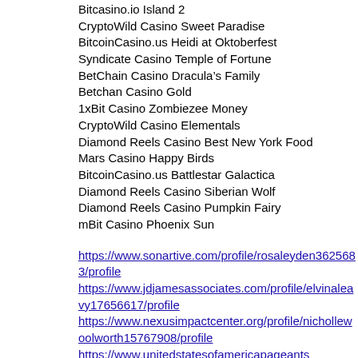Bitcasino.io Island 2
CryptoWild Casino Sweet Paradise
BitcoinCasino.us Heidi at Oktoberfest
Syndicate Casino Temple of Fortune
BetChain Casino Dracula’s Family
Betchan Casino Gold
1xBit Casino Zombiezee Money
CryptoWild Casino Elementals
Diamond Reels Casino Best New York Food
Mars Casino Happy Birds
BitcoinCasino.us Battlestar Galactica
Diamond Reels Casino Siberian Wolf
Diamond Reels Casino Pumpkin Fairy
mBit Casino Phoenix Sun
https://www.sonartive.com/profile/rosaleyden3625683/profile
https://www.jdjamesassociates.com/profile/elvinaleavy17656617/profile
https://www.nexusimpactcenter.org/profile/nichollewoolworth15767908/profile
https://www.unitedstatesofamericapageants